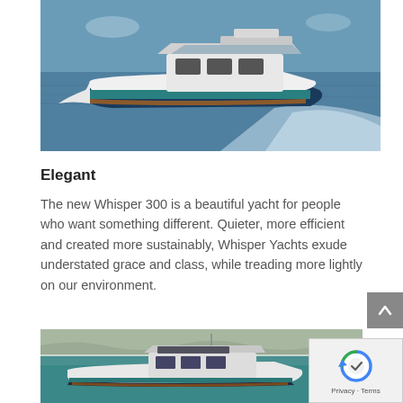[Figure (photo): A white and teal motorboat (yacht) speeding across blue water with a wake behind it, photographed from the side.]
Elegant
The new Whisper 300 is a beautiful yacht for people who want something different. Quieter, more efficient and created more sustainably, Whisper Yachts exude understated grace and class, while treading more lightly on our environment.
[Figure (photo): A white motorboat docked near a stone breakwater in calm turquoise water, viewed from the side.]